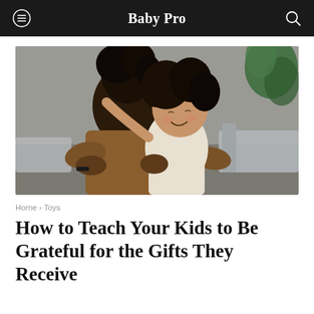Baby Pro
[Figure (photo): A smiling child with curly hair hugging an adult, eyes closed, warm embrace, indoor setting with grey couch and green plant in background.]
Home > Toys
How to Teach Your Kids to Be Grateful for the Gifts They Receive